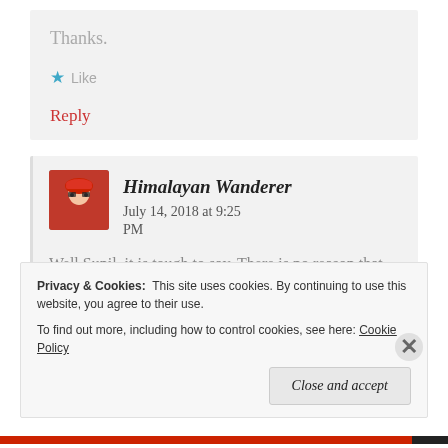Thanks.
★ Like
Reply
Himalayan Wanderer   July 14, 2018 at 9:25 PM
Well Sunil, it is tough to say. There is no reason that you cannot pull it through. But keep it in mind the remoteness
Privacy & Cookies:  This site uses cookies. By continuing to use this website, you agree to their use.
To find out more, including how to control cookies, see here: Cookie Policy
Close and accept